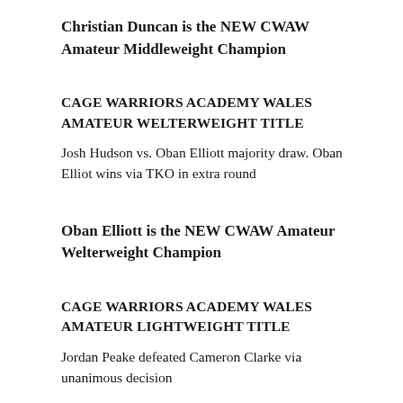Christian Duncan is the NEW CWAW Amateur Middleweight Champion
CAGE WARRIORS ACADEMY WALES AMATEUR WELTERWEIGHT TITLE
Josh Hudson vs. Oban Elliott majority draw. Oban Elliot wins via TKO in extra round
Oban Elliott is the NEW CWAW Amateur Welterweight Champion
CAGE WARRIORS ACADEMY WALES AMATEUR LIGHTWEIGHT TITLE
Jordan Peake defeated Cameron Clarke via unanimous decision